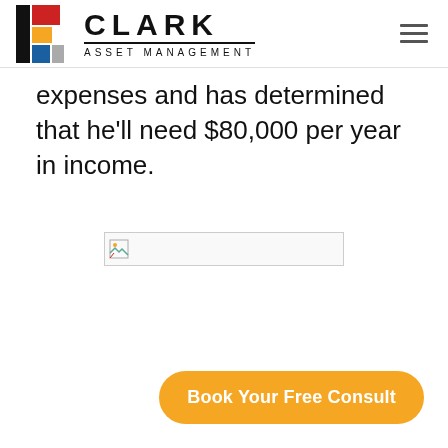CLARK ASSET MANAGEMENT
expenses and has determined that he'll need $80,000 per year in income.
[Figure (other): Broken image placeholder (image failed to load)]
Book Your Free Consult